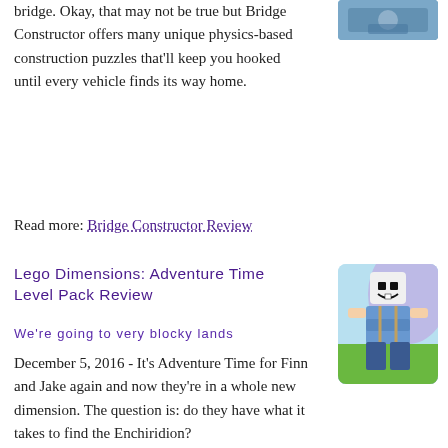bridge. Okay, that may not be true but Bridge Constructor offers many unique physics-based construction puzzles that'll keep you hooked until every vehicle finds its way home.
[Figure (photo): Screenshot or thumbnail from Bridge Constructor game]
Read more: Bridge Constructor Review
Lego Dimensions: Adventure Time Level Pack Review
We're going to very blocky lands
[Figure (photo): LEGO Finn character from Lego Dimensions Adventure Time Level Pack]
December 5, 2016 - It's Adventure Time for Finn and Jake again and now they're in a whole new dimension. The question is: do they have what it takes to find the Enchiridion?
Read more: Lego Dimensions: Adventure Time Level Pack Review